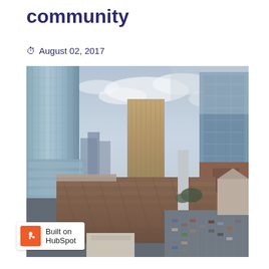community
August 02, 2017
[Figure (photo): Aerial cityscape photo showing tall glass and steel skyscrapers, mid-rise buildings under construction, a large brick convention center building, and a parking lot, under a partly cloudy sky.]
Built on HubSpot